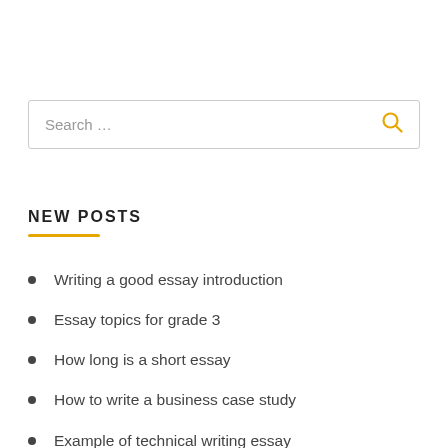Search ...
NEW POSTS
Writing a good essay introduction
Essay topics for grade 3
How long is a short essay
How to write a business case study
Example of technical writing essay